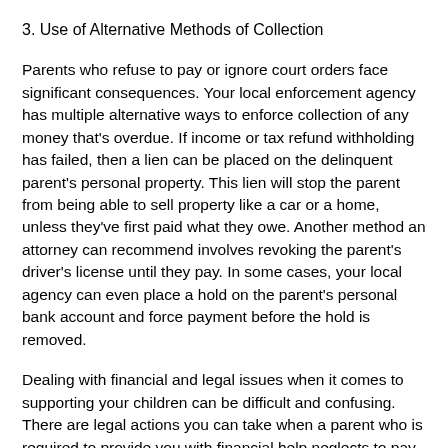3. Use of Alternative Methods of Collection
Parents who refuse to pay or ignore court orders face significant consequences. Your local enforcement agency has multiple alternative ways to enforce collection of any money that's overdue. If income or tax refund withholding has failed, then a lien can be placed on the delinquent parent's personal property. This lien will stop the parent from being able to sell property like a car or a home, unless they've first paid what they owe. Another method an attorney can recommend involves revoking the parent's driver's license until they pay. In some cases, your local agency can even place a hold on the parent's personal bank account and force payment before the hold is removed.
Dealing with financial and legal issues when it comes to supporting your children can be difficult and confusing. There are legal actions you can take when a parent who is required to provide you with financial help neglects to pay. An experienced child support lawyer can be a huge help as you navigate through the confusion and attempt to collect what